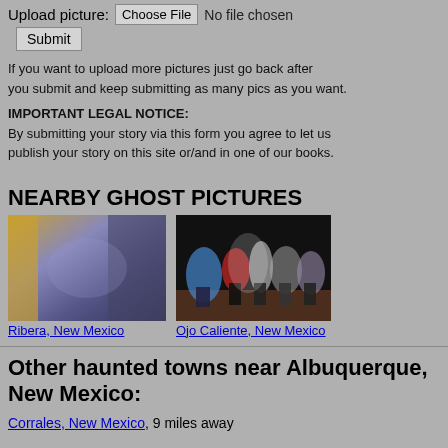Upload picture: Choose File No file chosen
Submit
If you want to upload more pictures just go back after you submit and keep submitting as many pics as you want.
IMPORTANT LEGAL NOTICE: By submitting your story via this form you agree to let us publish your story on this site or/and in one of our books.
NEARBY GHOST PICTURES
[Figure (photo): Blurry photo with yellow and blue-purple tones, Ribera, New Mexico]
Ribera, New Mexico
[Figure (photo): Dark photo showing people in costumes with flowing garments, Ojo Caliente, New Mexico]
Ojo Caliente, New Mexico
Other haunted towns near Albuquerque, New Mexico:
Corrales, New Mexico, 9 miles away